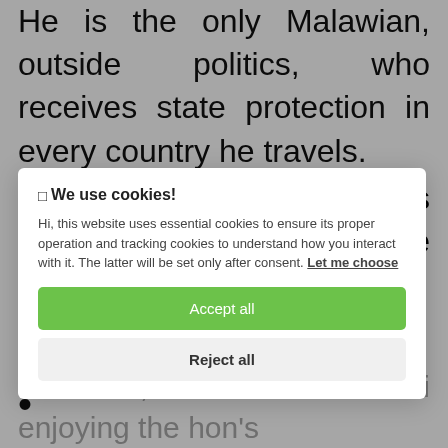He is the only Malawian, outside politics, who receives state protection in every country he travels.
With 2.2 million likes on his Facebook page, he is the only Malawian with the [largest following on Facebook]
[Figure (screenshot): Cookie consent modal overlay with title 'We use cookies!', body text about essential and tracking cookies, a green 'Accept all' button, and a grey 'Reject all' button.]
countries, with Malawi enjoying the hon's